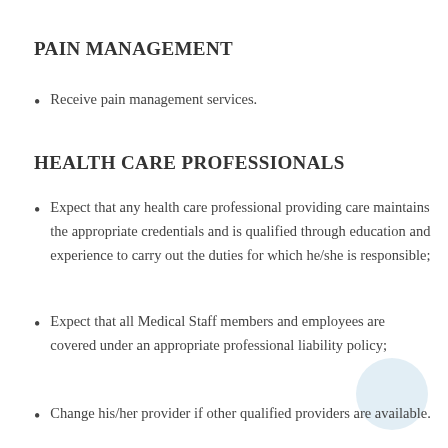PAIN MANAGEMENT
Receive pain management services.
HEALTH CARE PROFESSIONALS
Expect that any health care professional providing care maintains the appropriate credentials and is qualified through education and experience to carry out the duties for which he/she is responsible;
Expect that all Medical Staff members and employees are covered under an appropriate professional liability policy;
Change his/her provider if other qualified providers are available.